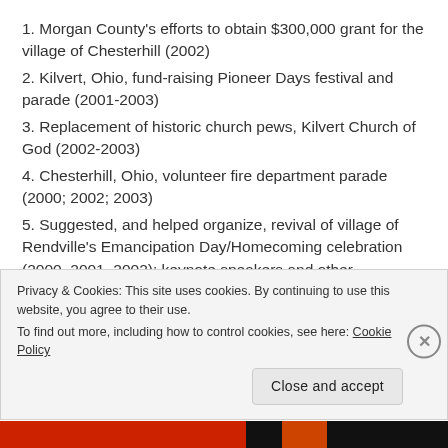1. Morgan County's efforts to obtain $300,000 grant for the village of Chesterhill (2002)
2. Kilvert, Ohio, fund-raising Pioneer Days festival and parade (2001-2003)
3. Replacement of historic church pews, Kilvert Church of God (2002-2003)
4. Chesterhill, Ohio, volunteer fire department parade (2000; 2002; 2003)
5. Suggested, and helped organize, revival of village of Rendville's Emancipation Day/Homecoming celebration (2000, 2001, 2002); keynote speakers and other performers each year.
6. Co-organized 2003 Underground Railroad Summit
Privacy & Cookies: This site uses cookies. By continuing to use this website, you agree to their use. To find out more, including how to control cookies, see here: Cookie Policy
Close and accept